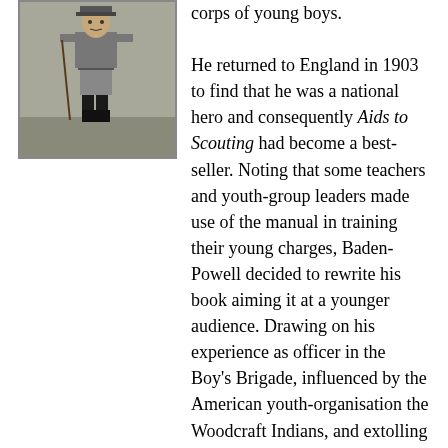[Figure (photo): Black and white photograph of Baden-Powell in military uniform, standing with a stick or cane, outdoors.]
corps of young boys.

He returned to England in 1903 to find that he was a national hero and consequently Aids to Scouting had become a best-seller. Noting that some teachers and youth-group leaders made use of the manual in training their young charges, Baden-Powell decided to rewrite his book aiming it at a younger audience. Drawing on his experience as officer in the Boy's Brigade, influenced by the American youth-organisation the Woodcraft Indians, and extolling the virtues of the cadet corps at Mafeking, Baden-Powell began work on Scouting for Boys.
To test the applicability of the content of the book, Baden-Powell took a group of twenty-one boys from mixed backgrounds on a camping expedition on Brownsea Island, in Poole Harbour, off the south coast of England. Between the 1st and 9th August 1907, the boys developed a variety of skills in camping, cooking, boating, tracking, wood-craft and first-aid. The training also involved an ideological element, Baden-Powell extolled the virtues of chivalry, honour,